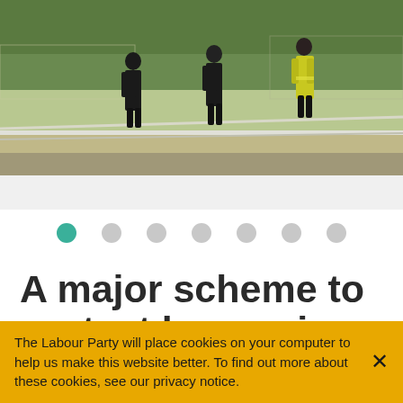[Figure (photo): Three people standing outdoors near a flood defence infrastructure. Two are dressed in black clothing, one is wearing a high-visibility yellow jacket. They are standing on or near concrete steps/ramps with green vegetation and gravel in the background.]
[Figure (infographic): Slideshow navigation dots: seven dots in a row, the first (leftmost) is teal/green and active, the remaining six are grey.]
A major scheme to protect homes in east Leeds from flooding b…
The Labour Party will place cookies on your computer to help us make this website better. To find out more about these cookies, see our privacy notice.